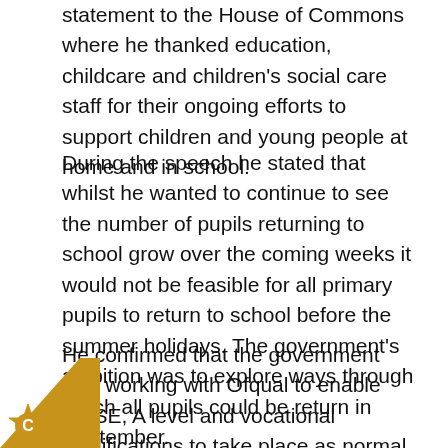statement to the House of Commons where he thanked education, childcare and children's social care staff for their ongoing efforts to support children and young people at home and in school.
During the speech he stated that whilst he wanted to continue to see the number of pupils returning to school grow over the coming weeks it would not be feasible for all primary pupils to return to school before the summer holidays. The government's ambition was to explore ways through which all pupils could be return in September.
He confirmed that the government was working with Ofqual to enable GCSE, A level and vocational qualifications to take place as normal in 2021. He said that further guidance would be issued for
[Figure (logo): Yellow/gold starburst badge with letter C, on a diagonal white/yellow corner graphic at the bottom-left]